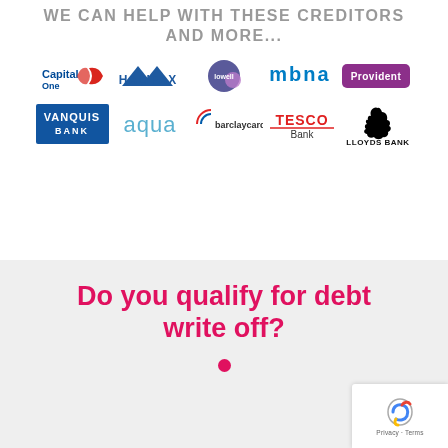WE CAN HELP WITH THESE CREDITORS AND MORE...
[Figure (logo): Grid of creditor logos: Capital One, Halifax, Lowell, MBNA, Provident, Vanquis Bank, Aqua, Barclaycard, Tesco Bank, Lloyds Bank]
Do you qualify for debt write off?